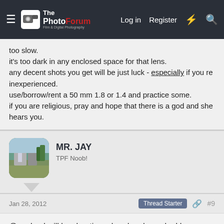The PhotoForum — Log in   Register
too slow.
it's too dark in any enclosed space for that lens.
any decent shots you get will be just luck - especially if you re inexperienced.
use/borrow/rent a 50 mm 1.8 or 1.4 and practice some.
if you are religious, pray and hope that there is a god and she hears you.
MR. JAY
TPF Noob!
Jan 28, 2012    Thread Starter    #9
@analog I will be shooting a band and people. I have a SB-900 for my flash